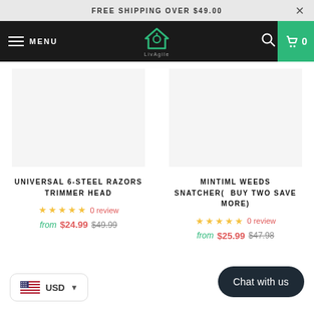FREE SHIPPING OVER $49.00
MENU
UNIVERSAL 6-STEEL RAZORS TRIMMER HEAD
☆☆☆☆☆ 0 review
from $24.99 $49.99
MINTIML WEEDS SNATCHER( BUY TWO SAVE MORE)
☆☆☆☆☆ 0 review
from $25.99 $47.98
USD
Chat with us